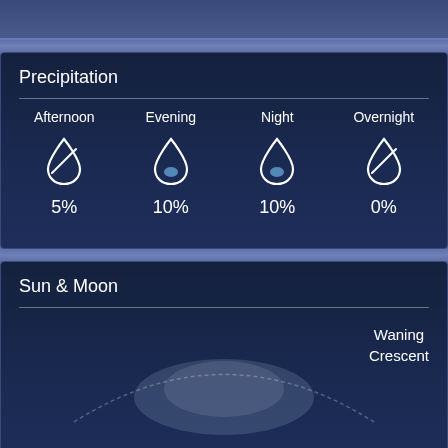Precipitation
| Afternoon | Evening | Night | Overnight |
| --- | --- | --- | --- |
| 5% | 10% | 10% | 0% |
Sun & Moon
Waning Crescent
5:50 AM
7:09 PM
Wind & Pressure